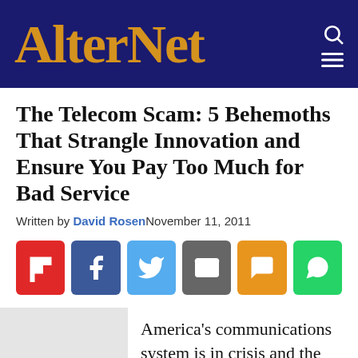AlterNet
The Telecom Scam: 5 Behemoths That Strangle Innovation and Ensure You Pay Too Much for Bad Service
Written by David Rosen November 11, 2011
[Figure (infographic): Six social share buttons: Flipboard (red), Facebook (blue), Twitter (light blue), Email (gray), SMS (orange), WhatsApp (green)]
America's communications system is in crisis and the longterm consequences will be profound. Most distressing, this issue is not on the